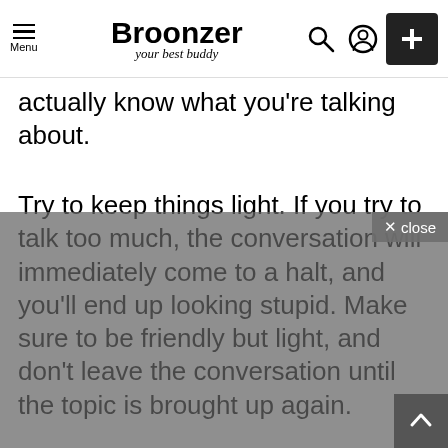Menu | Broonzer your best buddy
actually know what you're talking about.
Try to keep things light. If you try to talk too much, the conversation will immediately come to a halt, and you'll end up looking stupid. Make sure to be friendly but light, and don't leave the conversation until the topic is brought up again.
Secondly, when you want to learn how to start a conversation with a girl, it is important to be confident. Nothing works faster to the girl feel insecure about you. She'll begin to think that you are always trying to set her up, and you could and